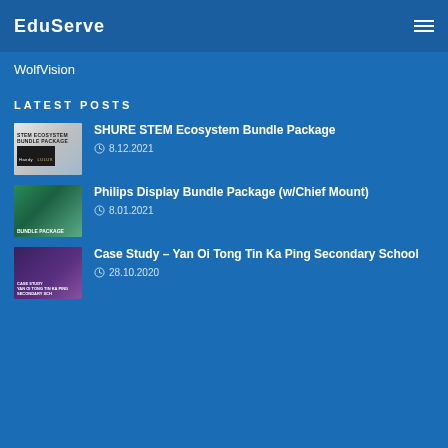EduServe
WolfVision
LATEST POSTS
SHURE STEM Ecosystem Bundle Package · 8.12.2021
Philips Display Bundle Package (w/Chief Mount) · 8.01.2021
Case Study – Yan Oi Tong Tin Ka Ping Secondary School · 28.10.2020